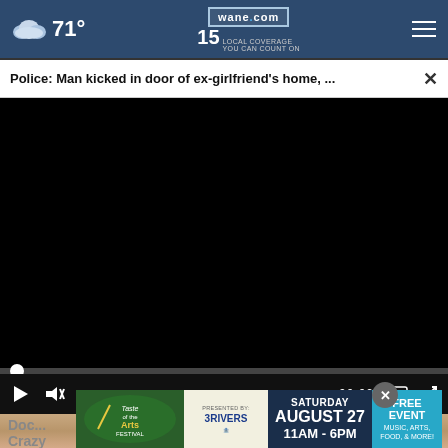71° wane.com 15 LOCAL COVERAGE YOU CAN COUNT ON
Police: Man kicked in door of ex-girlfriend's home, ...
[Figure (screenshot): Black video player window with progress bar and playback controls showing 00:00]
[Figure (photo): Close-up photo of a person's face (lower portion visible)]
Doc... Crazy
[Figure (infographic): Taste of the Arts Festival advertisement banner: SATURDAY AUGUST 27 11AM-6PM FREE EVENT MUSIC, ARTS, FOOD, & MORE! Presented by 3Rivers]